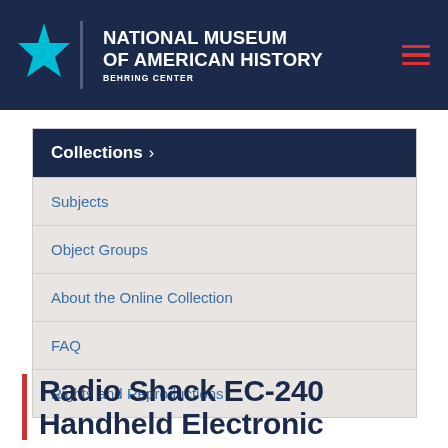NATIONAL MUSEUM OF AMERICAN HISTORY BEHRING CENTER
Collections >
Subjects
Object Groups
About the Online Collection
FAQ
Rights and Reproductions
Radio Shack EC-240 Handheld Electronic